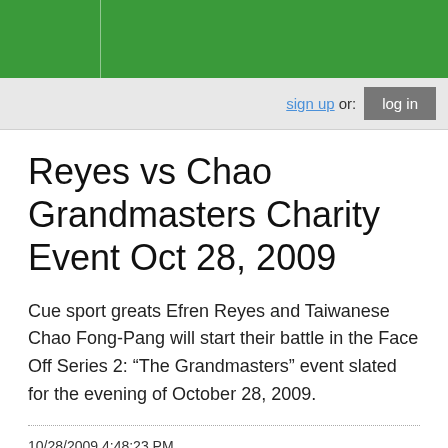sign up or: log in
Reyes vs Chao Grandmasters Charity Event Oct 28, 2009
Cue sport greats Efren Reyes and Taiwanese Chao Fong-Pang will start their battle in the Face Off Series 2: “The Grandmasters” event slated for the evening of October 28, 2009.
10/28/2009 4:48:23 PM
Reyes vs Chao Grandmasters Charity Event Oct 28, 2009